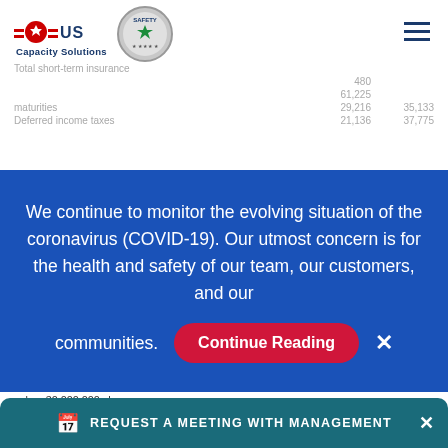USAT Capacity Solutions - logo and navigation header
480
61,225
maturities 29,216 35,133
Deferred income taxes 21,136 37,775
We continue to monitor the evolving situation of the coronavirus (COVID-19). Our utmost concern is for the health and safety of our team, our customers, and our communities.
Common stock, $.01 par value; 30,000,000 shares authorized; issued 12,142,391 shares, and 12,156,376 shares, respectively
| Description | Value1 | Value2 |
| --- | --- | --- |
| Common stock, $.01 par value; 30,000,000 shares authorized; issued 12,142,391 shares, and 12,156,376 shares, respectively | 121 | 122 |
| Additional paid-in capital | 68,667 | 68,375 |
| Retained earnings | 65,460 | 57,963 |
| Less treasury stock, at cost (3,853,064 shares, and 3,849,... respectively) |  |  |
| Total stockholders' equity | 66,488 | 58,588 |
REQUEST A MEETING WITH MANAGEMENT